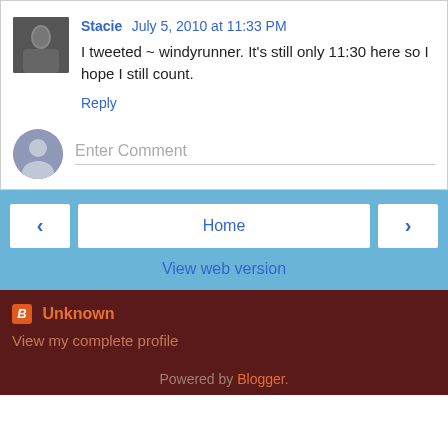Stacie July 5, 2010 at 11:33 PM
I tweeted ~ windyrunner. It's still only 11:30 here so I hope I still count.
Reply
[Figure (screenshot): Enter Comment input field with placeholder text and anonymous user avatar]
[Figure (screenshot): Navigation bar with back arrow, Home button, and forward arrow on blue background, and View web version link]
Unknown
View my complete profile
Powered by Blogger.